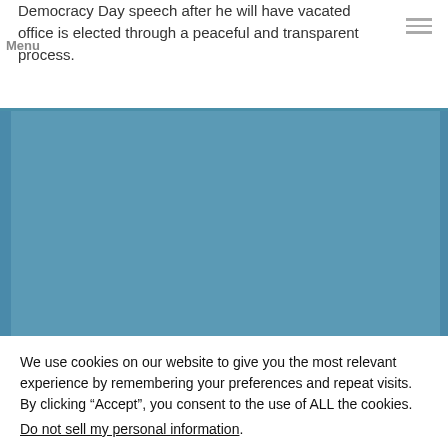Democracy Day speech after he will have vacated office is elected through a peaceful and transparent process.
[Figure (photo): Blue/teal colored media placeholder area, likely a video or image embed on a news/government website]
We use cookies on our website to give you the most relevant experience by remembering your preferences and repeat visits. By clicking “Accept”, you consent to the use of ALL the cookies.
Do not sell my personal information.
Cookie Settings   Accept